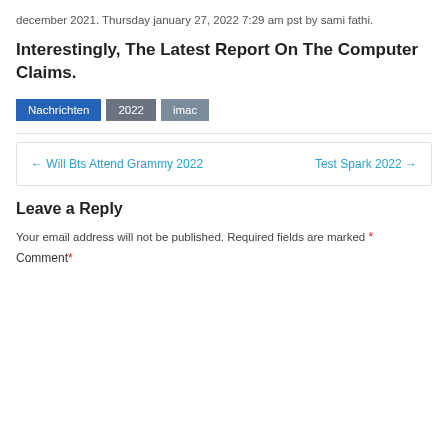december 2021. Thursday january 27, 2022 7:29 am pst by sami fathi.
Interestingly, The Latest Report On The Computer Claims.
Nachrichten  2022  imac
← Will Bts Attend Grammy 2022    Test Spark 2022 →
Leave a Reply
Your email address will not be published. Required fields are marked *
Comment *